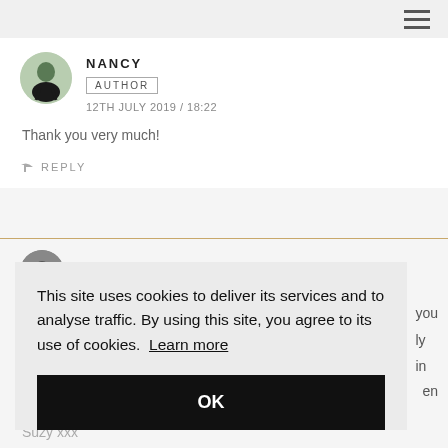NANCY
AUTHOR
12TH JULY 2019 / 18:22
Thank you very much!
REPLY
This site uses cookies to deliver its services and to analyse traffic. By using this site, you agree to its use of cookies. Learn more
OK
Suzy xxx